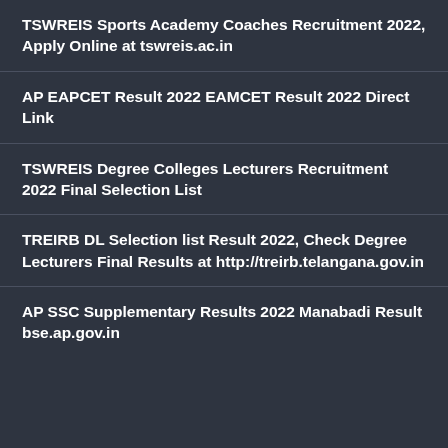TSWREIS Sports Academy Coaches Recruitment 2022, Apply Online at tswreis.ac.in
AP EAPCET Result 2022 EAMCET Result 2022 Direct Link
TSWREIS Degree Colleges Lecturers Recruitment 2022 Final Selection List
TREIRB DL Selection list Result 2022, Check Degree Lecturers Final Results at http://treirb.telangana.gov.in
AP SSC Supplementary Results 2022 Manabadi Result bse.ap.gov.in